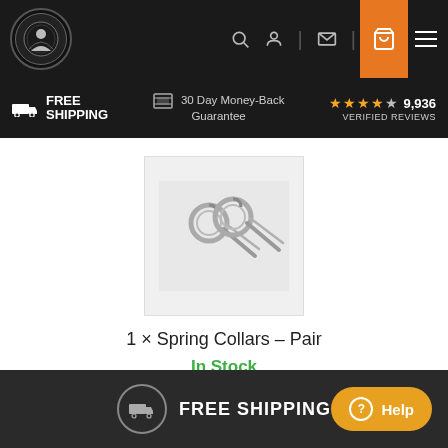[Figure (screenshot): Website top navigation bar with logo, search, account, mail, globe, cart and menu icons]
FREE SHIPPING  |  30 Day Money-Back Guarantee  |  ★★★★½ 9,936 VERIFIED REVIEWS
[Figure (photo): Product photo of Spring Collars - Pair, two spring clip collars on light gray background]
1 × Spring Collars – Pair
In Stock
$17.99
FREE SHIPPING  Help